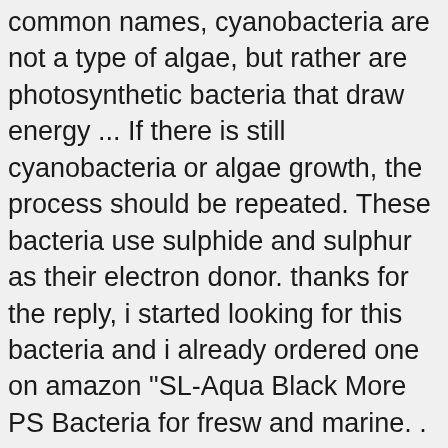common names, cyanobacteria are not a type of algae, but rather are photosynthetic bacteria that draw energy ... If there is still cyanobacteria or algae growth, the process should be repeated. These bacteria use sulphide and sulphur as their electron donor. thanks for the reply, i started looking for this bacteria and i already ordered one on amazon "SL-Aqua Black More PS Bacteria for fresw and marine. . Photosynthetic bacteria can convert organic compounds such as volatile fatty acids into hydrogen and carbon dioxide by utilizing light energy of sun under anaerobic conditions; this process is known as photofermentation. Cyanobacteria use wavelengths of light that are not used by higher order plants. If food is visible on the bottom after 5 minutes, you are overfeeding your fish. aquarium gravel, while having no adverse effect on the oxygen level of the water. Due to the tropical weather of Asia, the purple non-sulphur bacteria are normally preferred to be used in hot spring environments